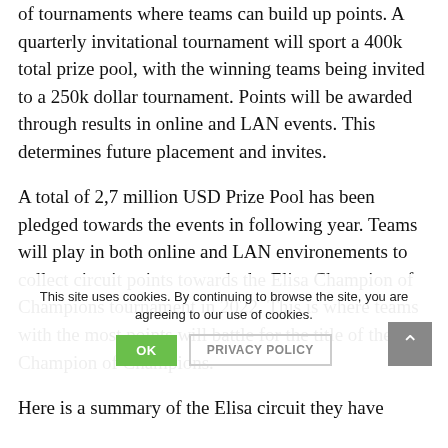of tournaments where teams can build up points. A quarterly invitational tournament will sport a 400k total prize pool, with the winning teams being invited to a 250k dollar tournament. Points will be awarded through results in online and LAN events. This determines future placement and invites.
A total of 2,7 million USD Prize Pool has been pledged towards the events in following year. Teams will play in both online and LAN environements to collect circuit points towards the Elisa Champion of Champions tournament in 2022. This is where teams with the most points will battle for the title of the Champion of Champions.
Here is a summary of the Elisa circuit they have
This site uses cookies. By continuing to browse the site, you are agreeing to our use of cookies.